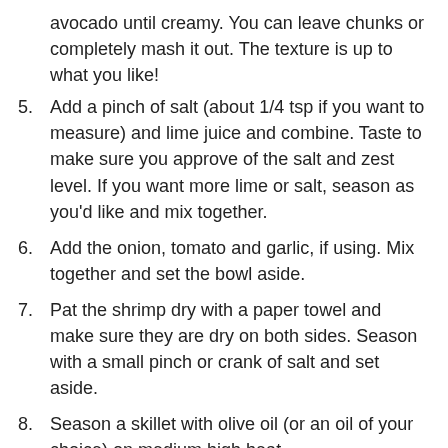avocado until creamy. You can leave chunks or completely mash it out. The texture is up to what you like!
5. Add a pinch of salt (about 1/4 tsp if you want to measure) and lime juice and combine. Taste to make sure you approve of the salt and zest level. If you want more lime or salt, season as you'd like and mix together.
6. Add the onion, tomato and garlic, if using. Mix together and set the bowl aside.
7. Pat the shrimp dry with a paper towel and make sure they are dry on both sides. Season with a small pinch or crank of salt and set aside.
8. Season a skillet with olive oil (or an oil of your choice) on medium high heat.
9. Once the oil is shimmering, add as many shrimp that will fit onto the pan. Sear for 1-2 minutes, until the side on the pan is pink and crispy golden brown. Flip the